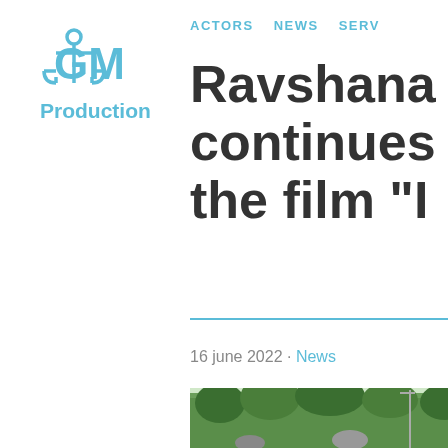[Figure (logo): GM Production logo with anchor icon, teal color, text reads 'GM Production']
ACTORS  NEWS  SERV
Ravshana continues the film "I
16 june 2022 · News
[Figure (photo): Outdoor photo showing people in a park or garden setting with green trees in background]